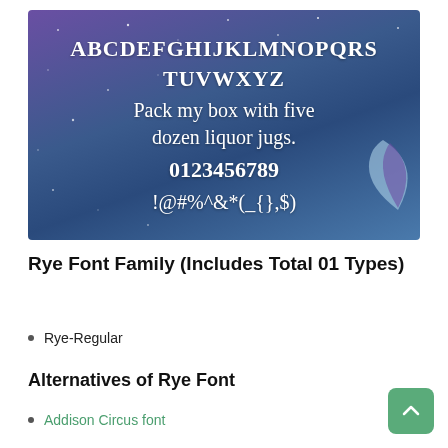[Figure (illustration): Font preview image on a dark blue/purple starry night sky background with a crescent moon. Displays the Rye font showing alphabet letters ABCDEFGHIJKLMNOPQRS TUVWXYZ, pangram 'Pack my box with five dozen liquor jugs.', numerals 0123456789, and special characters !@#%^&*(_{},$)]
Rye Font Family (Includes Total 01 Types)
Rye-Regular
Alternatives of Rye Font
Addison Circus font